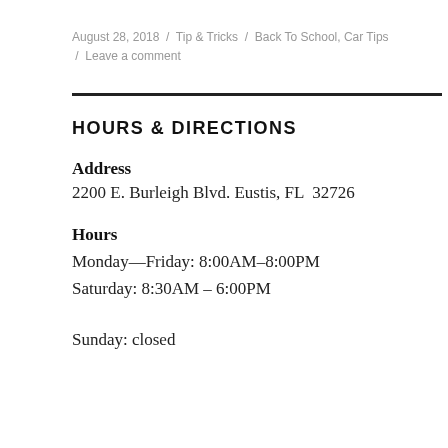August 28, 2018 / Tip & Tricks / Back To School, Car Tips / Leave a comment
HOURS & DIRECTIONS
Address
2200 E. Burleigh Blvd. Eustis, FL  32726
Hours
Monday—Friday: 8:00AM–8:00PM
Saturday: 8:30AM – 6:00PM
Sunday: closed